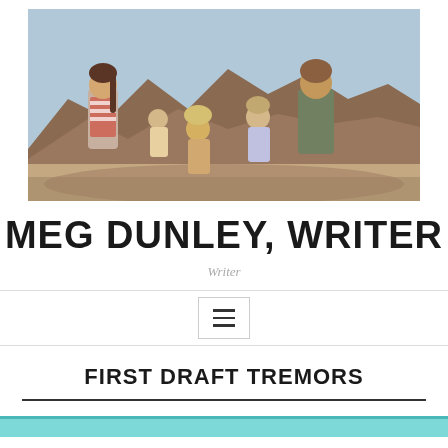[Figure (photo): Family photo of several people sitting on rocky terrain with desert mountains in the background. A woman in a striped top on the left, a man on the right, and children in between.]
MEG DUNLEY, WRITER
Writer
[Figure (other): Navigation bar with hamburger menu icon (three horizontal lines) inside a bordered button]
FIRST DRAFT TREMORS
[Figure (other): Teal/cyan colored bar at the bottom of the page, partially visible]